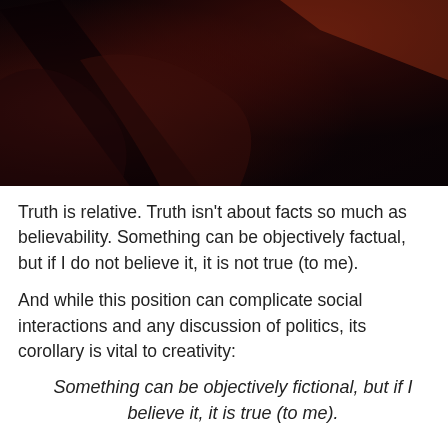[Figure (photo): Dark, moody photograph showing what appears to be hands or objects in very low light with deep red and dark brown tones.]
Truth is relative. Truth isn't about facts so much as believability. Something can be objectively factual, but if I do not believe it, it is not true (to me).
And while this position can complicate social interactions and any discussion of politics, its corollary is vital to creativity:
Something can be objectively fictional, but if I believe it, it is true (to me).